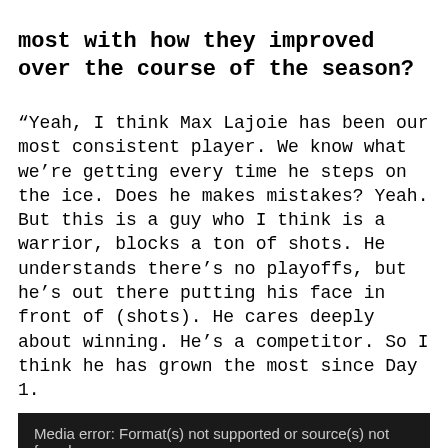most with how they improved over the course of the season?
“Yeah, I think Max Lajoie has been our most consistent player. We know what we’re getting every time he steps on the ice. Does he makes mistakes? Yeah. But this is a guy who I think is a warrior, blocks a ton of shots. He understands there’s no playoffs, but he’s out there putting his face in front of (shots). He cares deeply about winning. He’s a competitor. So I think he has grown the most since Day 1.
[Figure (other): Media error box with text: Media error: Format(s) not supported or source(s) not found. Download File: https://www.chicagowolves.com/wp-content/uploads/2021/05/Lajoie-blocks-2-shots-Clip-7.mp4?_=2]